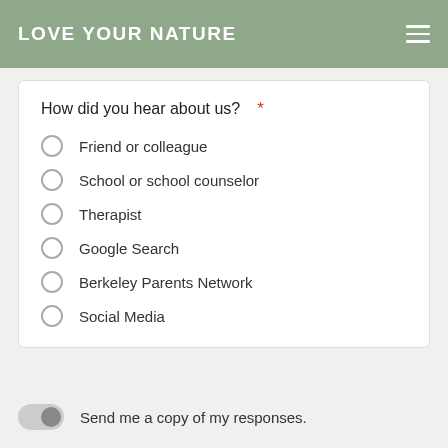LOVE YOUR NATURE
How did you hear about us? *
Friend or colleague
School or school counselor
Therapist
Google Search
Berkeley Parents Network
Social Media
Send me a copy of my responses.